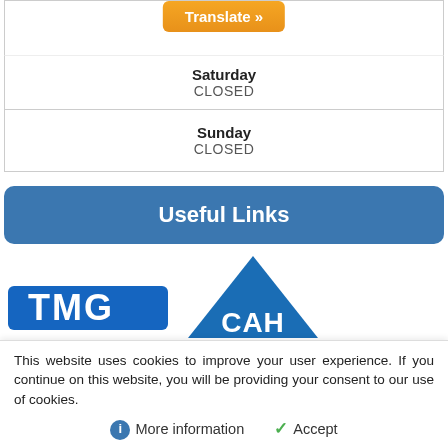| Saturday | CLOSED |
| Sunday | CLOSED |
Useful Links
[Figure (logo): Partial blue logo (TMC or similar) on the left side]
[Figure (logo): Partial blue triangle logo with 'CAH' text (partial) on the right side]
This website uses cookies to improve your user experience. If you continue on this website, you will be providing your consent to our use of cookies.
ℹ More information   ✓ Accept